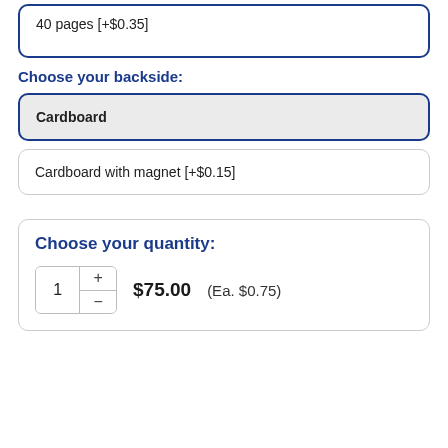40 pages [+$0.35]
Choose your backside:
Cardboard
Cardboard with magnet [+$0.15]
Choose your quantity: 1   $75.00  (Ea. $0.75)